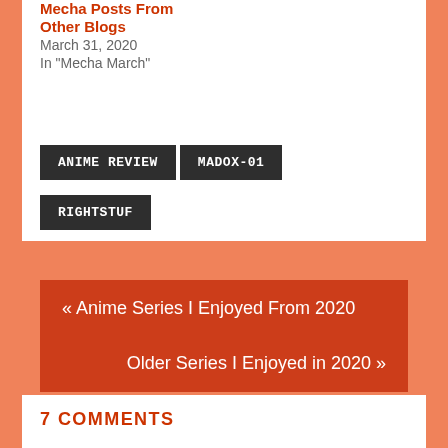Mecha Posts From Other Blogs
March 31, 2020
In "Mecha March"
ANIME REVIEW
MADOX-01
RIGHTSTUF
« Anime Series I Enjoyed From 2020
Older Series I Enjoyed in 2020 »
7 COMMENTS